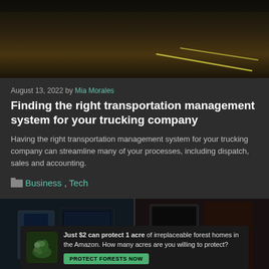[Figure (photo): Nighttime highway road scene with yellow lane markings visible, dark asphalt, warm orange glow from distant lights]
August 13, 2022 by Mia Morales
Finding the right transportation management system for your trucking company
Having the right transportation management system for your trucking company can streamline many of your processes, including dispatch, sales and accounting.
Business, Tech
[Figure (photo): Two side-by-side interior photos showing guitar and tech/electronic equipment displays]
[Figure (other): Advertisement banner: Just $2 can protect 1 acre of irreplaceable forest homes in the Amazon. How many acres are you willing to protect? PROTECT FORESTS NOW]